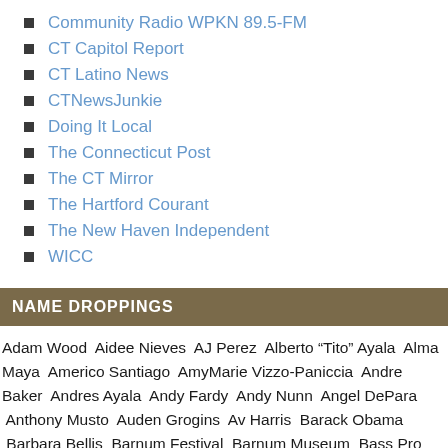Community Radio WPKN 89.5-FM
CT Capitol Report
CT Latino News
CTNewsJunkie
Doing It Local
The Connecticut Post
The CT Mirror
The Hartford Courant
The New Haven Independent
WICC
NAME DROPPINGS
Adam Wood  Aidee Nieves  AJ Perez  Alberto "Tito" Ayala  Alma Maya  Americo Santiago  AmyMarie Vizzo-Paniccia  Andre Baker  Andres Ayala  Andy Fardy  Andy Nunn  Angel DePara  Anthony Musto  Auden Grogins  Av Harris  Barack Obama  Barbara Bellis  Barnum Festival  Barnum Museum  Bass Pro Shops  Beardsley Park